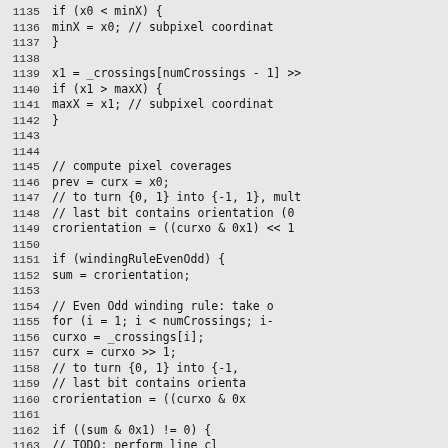Source code listing lines 1135-1164 showing pixel coverage computation with winding rule logic in C-like syntax